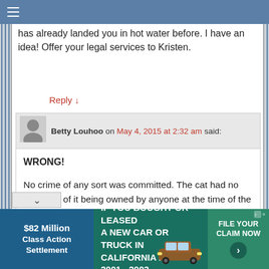has already landed you in hot water before. I have an idea! Offer your legal services to Kristen.
Reply ↓
Betty Louhoo on May 4, 2015 at 2:32 am said:
WRONG!

No crime of any sort was committed. The cat had no evidence of it being owned by anyone at the time of the killing. And even if it was, the most that she could be fined was the value of that cat — about 2-cents on today's market, if lucky. According to Texas law, it is perfectly legal to kill a cat to stop it from destroying all the native wildlife on anyone's land (just one of
[Figure (infographic): Advertisement banner: $82 Million Class Action Settlement - IF YOU BOUGHT OR LEASED A NEW CAR OR TRUCK IN CALIFORNIA FROM 2001 - 2003 - FILE YOUR CLAIM NOW]